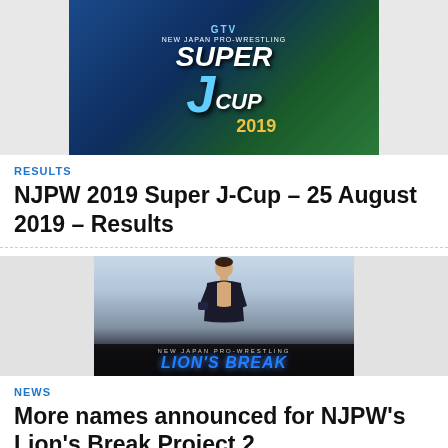[Figure (photo): NJPW Super J-Cup 2019 promotional logo/banner image with blue and green background]
RESULTS
NJPW 2019 Super J-Cup – 25 August 2019 – Results
[Figure (photo): Lion's Break Project promotional image showing a wrestler and the Lion's Break logo]
NEWS
More names announced for NJPW's Lion's Break Project 2